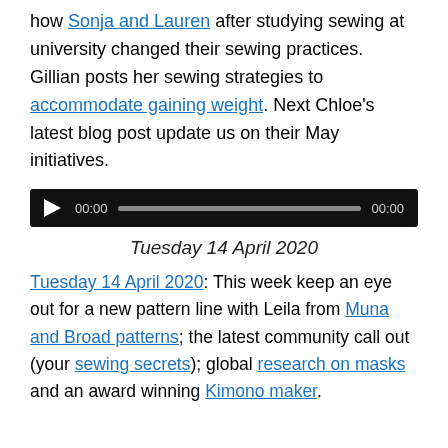how Sonja and Lauren after studying sewing at university changed their sewing practices. Gillian posts her sewing strategies to accommodate gaining weight. Next Chloe's latest blog post update us on their May initiatives.
[Figure (other): Audio player with play button, time display 00:00, progress bar, and end time 00:00 on black background]
Tuesday 14 April 2020
Tuesday 14 April 2020: This week keep an eye out for a new pattern line with Leila from Muna and Broad patterns; the latest community call out (your sewing secrets); global research on masks and an award winning Kimono maker.